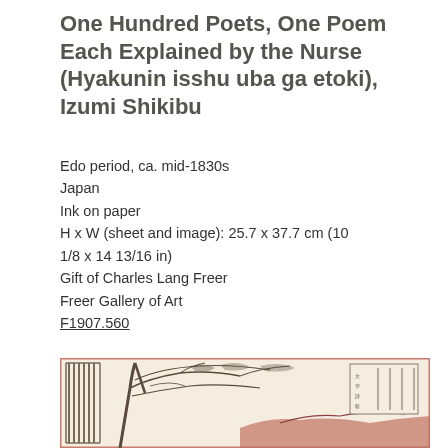One Hundred Poets, One Poem Each Explained by the Nurse (Hyakunin isshu uba ga etoki), Izumi Shikibu
Edo period, ca. mid-1830s
Japan
Ink on paper
H x W (sheet and image): 25.7 x 37.7 cm (10 1/8 x 14 13/16 in)
Gift of Charles Lang Freer
Freer Gallery of Art
F1907.560
[Figure (illustration): Partial view of a Japanese ink-on-paper artwork from the Edo period showing a building structure with vertical slats on the left, large tree branches extending across the upper portion, and red/brown painted elements in the lower right suggesting a landscape. A text box with Japanese calligraphy appears in the upper right corner.]